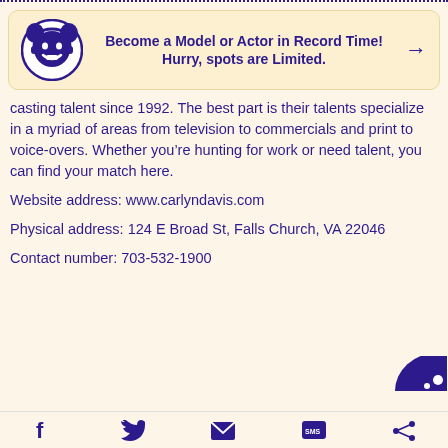[Figure (infographic): Ad banner with cartoon character icon, bold text 'Become a Model or Actor in Record Time! Hurry, spots are Limited.' and a right arrow]
casting talent since 1992. The best part is their talents specialize in a myriad of areas from television to commercials and print to voice-overs. Whether you’re hunting for work or need talent, you can find your match here.
Website address: www.carlyndavis.com
Physical address: 124 E Broad St, Falls Church, VA 22046
Contact number: 703-532-1900
[Figure (illustration): Dark circular button partially visible at bottom right]
Social share icons: Facebook, Twitter, Email, SMS, Share